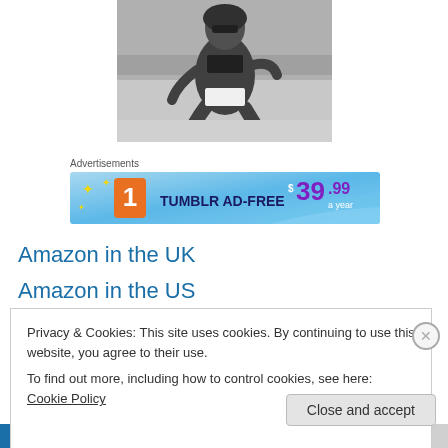[Figure (photo): Black and white photo of a person in a swimsuit sitting on a beach]
Advertisements
[Figure (infographic): Tumblr Ad-Free banner advertisement showing $39.99 a year]
Amazon in the UK
Amazon in the US
Privacy & Cookies: This site uses cookies. By continuing to use this website, you agree to their use.
To find out more, including how to control cookies, see here: Cookie Policy
Close and accept